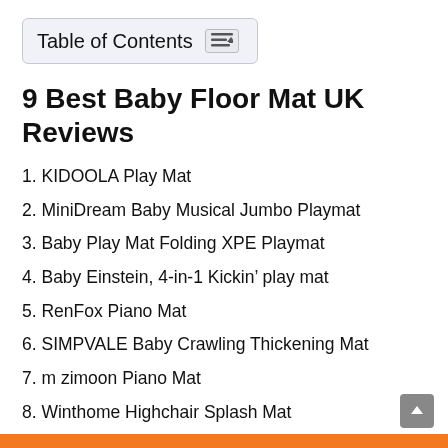[Figure (other): Table of Contents widget box with icon]
9 Best Baby Floor Mat UK Reviews
1. KIDOOLA Play Mat
2. MiniDream Baby Musical Jumbo Playmat
3. Baby Play Mat Folding XPE Playmat
4. Baby Einstein, 4-in-1 Kickin’ play mat
5. RenFox Piano Mat
6. SIMPVALE Baby Crawling Thickening Mat
7. m zimoon Piano Mat
8. Winthome Highchair Splash Mat
9. VATOS Tummy Time Water Mat